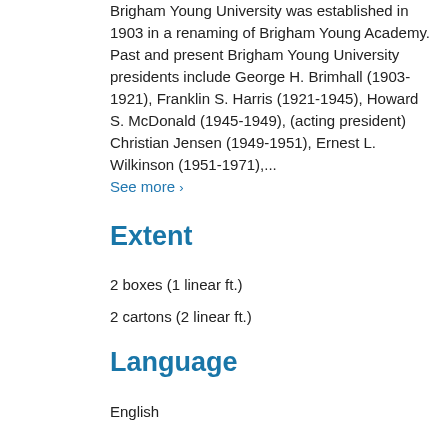Brigham Young University was established in 1903 in a renaming of Brigham Young Academy. Past and present Brigham Young University presidents include George H. Brimhall (1903-1921), Franklin S. Harris (1921-1945), Howard S. McDonald (1945-1949), (acting president) Christian Jensen (1949-1951), Ernest L. Wilkinson (1951-1971),...
See more ›
Extent
2 boxes (1 linear ft.)
2 cartons (2 linear ft.)
Language
English
Collapse All
Additional Description